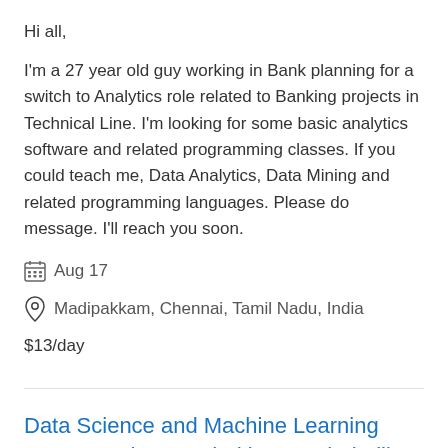Hi all,
I'm a 27 year old guy working in Bank planning for a switch to Analytics role related to Banking projects in Technical Line. I'm looking for some basic analytics software and related programming classes. If you could teach me, Data Analytics, Data Mining and related programming languages. Please do message. I'll reach you soon.
Aug 17
Madipakkam, Chennai, Tamil Nadu, India
$13/day
Data Science and Machine Learning Home teacher needed in Marathahalli